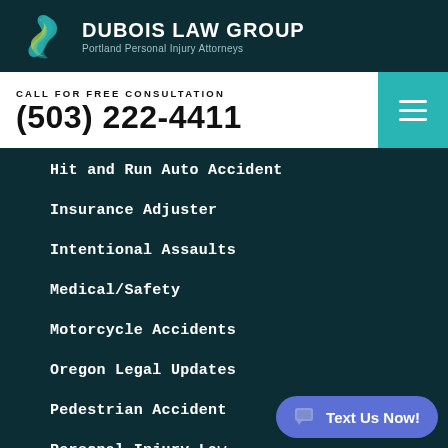[Figure (logo): Dubois Law Group logo — stylized S-shape in teal and gold/green on dark background]
DUBOIS LAW GROUP
Portland Personal Injury Attorneys
CALL FOR FREE CONSULTATION
(503) 222-4411
Hit and Run Auto Accident
Insurance Adjuster
Intentional Assaults
Medical/Safety
Motorcycle Accidents
Oregon Legal Updates
Pedestrian Accident
Personal Injury Law
Personal Injury Process